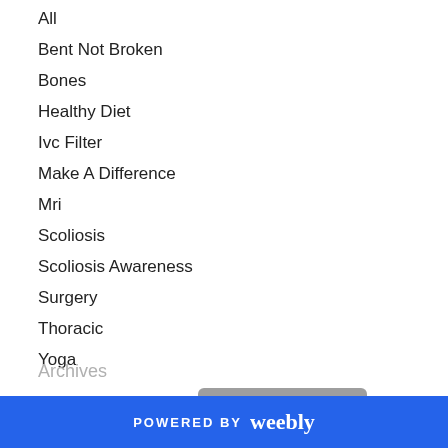All
Bent Not Broken
Bones
Healthy Diet
Ivc Filter
Make A Difference
Mri
Scoliosis
Scoliosis Awareness
Surgery
Thoracic
Yoga
[Figure (logo): Protected by Copyscape badge - grey rounded rectangle with copyright symbol and text]
Archives
POWERED BY weebly